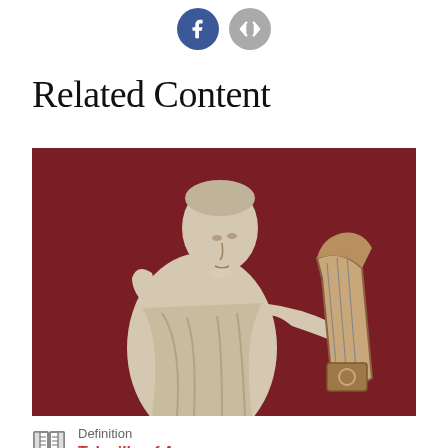[Figure (other): Social sharing icons: Facebook (blue circle with f) and embed/code icon (grey circle with </>)]
Related Content
[Figure (photo): Marble statue of a woman (likely a muse or poetess) holding a lyre, set against a dark red/crimson background]
Definition
Telesilla of Argos
Telesilla of Argos was a lyric poet of the 5th century BCE, listed